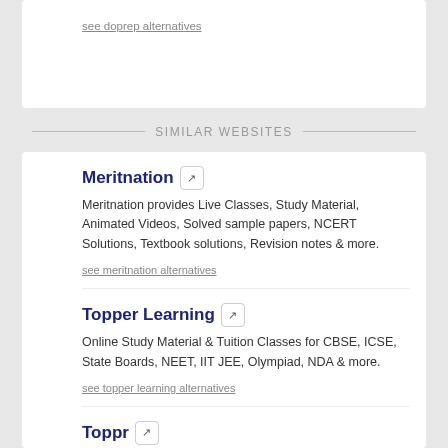see doprep alternatives
SIMILAR WEBSITES
Meritnation
Meritnation provides Live Classes, Study Material, Animated Videos, Solved sample papers, NCERT Solutions, Textbook solutions, Revision notes & more.
see meritnation alternatives
Topper Learning
Online Study Material & Tuition Classes for CBSE, ICSE, State Boards, NEET, IIT JEE, Olympiad, NDA & more.
see topper learning alternatives
Toppr
India's Best Online Coaching Website for JEE Main & Advanced, BITSAT, AIPMT, KVPY, NTSE and other State Entrance Exams. 1.5 lakh+ Question Bank.
see toppr alternatives